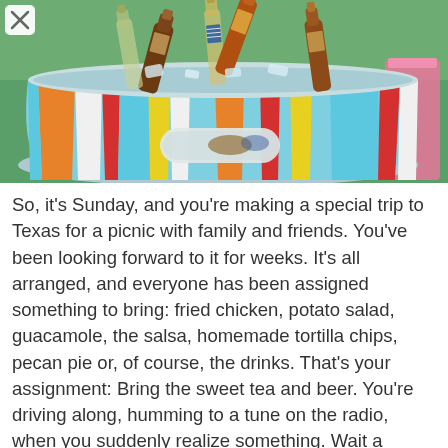[Figure (photo): A colorful striped metal bucket/tub filled with ice and various beer and beverage bottles, including brown and clear glass bottles. The bucket has bright stripes of blue, orange, red, white, and yellow. A pink cup is visible in the background to the right.]
So, it's Sunday, and you're making a special trip to Texas for a picnic with family and friends. You've been looking forward to it for weeks. It's all arranged, and everyone has been assigned something to bring: fried chicken, potato salad, guacamole, the salsa, homemade tortilla chips, pecan pie or, of course, the drinks. That's your assignment: Bring the sweet tea and beer. You're driving along, humming to a tune on the radio, when you suddenly realize something. Wait a minute ... beer! You're the one who's supposed to show up with the beer! Can you even buy beer on Sunday in Texas?